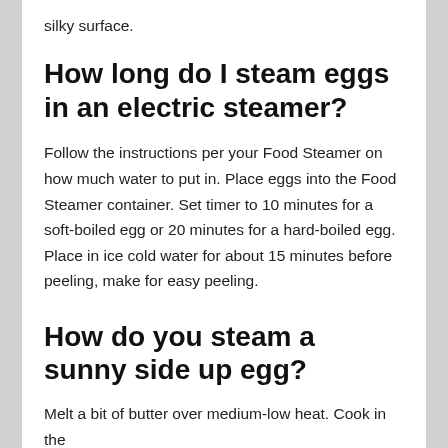silky surface.
How long do I steam eggs in an electric steamer?
Follow the instructions per your Food Steamer on how much water to put in. Place eggs into the Food Steamer container. Set timer to 10 minutes for a soft-boiled egg or 20 minutes for a hard-boiled egg. Place in ice cold water for about 15 minutes before peeling, make for easy peeling.
How do you steam a sunny side up egg?
Melt a bit of butter over medium-low heat. Cook in the